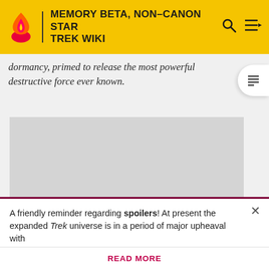MEMORY BETA, NON-CANON STAR TREK WIKI
dormancy, primed to release the most powerful destructive force ever known.
[Figure (photo): Gray placeholder image rectangle]
A friendly reminder regarding spoilers! At present the expanded Trek universe is in a period of major upheaval with
READ MORE